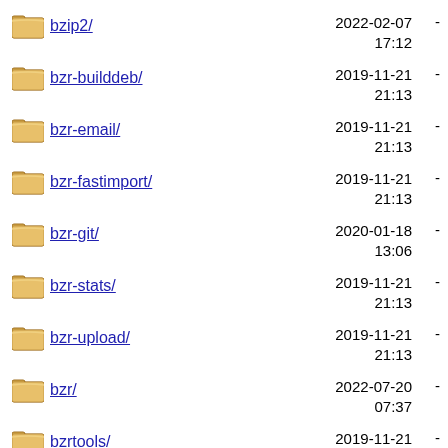bzip2/  2022-02-07 17:12  -
bzr-builddeb/  2019-11-21 21:13  -
bzr-email/  2019-11-21 21:13  -
bzr-fastimport/  2019-11-21 21:13  -
bzr-git/  2020-01-18 13:06  -
bzr-stats/  2019-11-21 21:13  -
bzr-upload/  2019-11-21 21:13  -
bzr/  2022-07-20 07:37  -
bzrtools/  2019-11-21 21:13  -
bzrtp/  2021-02-16 12:19  -
Apache/2.4.10 (Debian) Server at http.kali.org Port 443